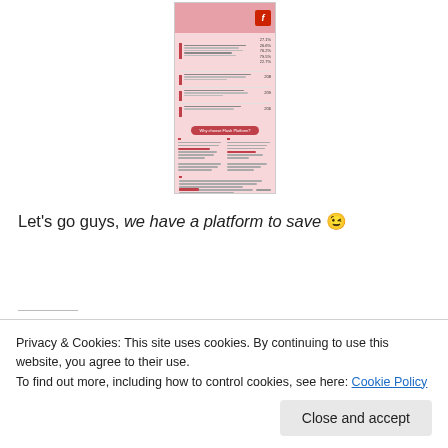[Figure (screenshot): A thumbnail screenshot of an Adobe Flash Platform promotional document with pink/red color scheme, showing bar charts, text sections, and a 'Why choose Flash Platform?' header section. Adobe Flash logo visible in top right corner.]
Let's go guys, we have a platform to save 😉
SHARE THIS:
Privacy & Cookies: This site uses cookies. By continuing to use this website, you agree to their use.
To find out more, including how to control cookies, see here: Cookie Policy
Close and accept